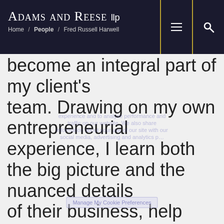Adams and Reese LLP — Home / People / Fred Russell Harwell
become an integral part of my client's team. Drawing on my own entrepreneurial experience, I learn both the big picture and the nuanced details of their business, help them expand market share and ride the wave of growth and success with them. Their projects often require fast turnaround times, and I always do whatever I can to